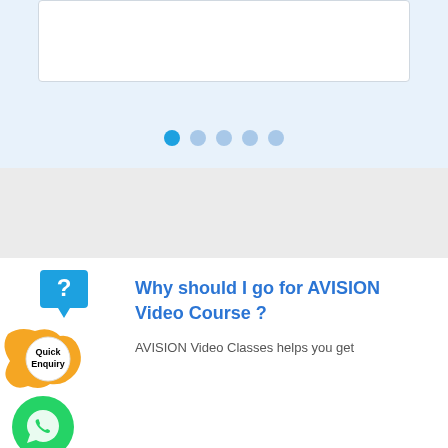[Figure (screenshot): White card box with light blue background and pagination dots below (one active blue dot and four inactive lighter blue dots)]
[Figure (illustration): Blue speech bubble with white question mark icon (FAQ/help icon)]
[Figure (logo): Quick Enquiry button — circular badge with gold/orange flame shape and white circle containing bold text 'Quick Enquiry']
[Figure (illustration): Green circle WhatsApp-style phone/message icon]
Why should I go for AVISION Video Course ?
AVISION Video Classes helps you get